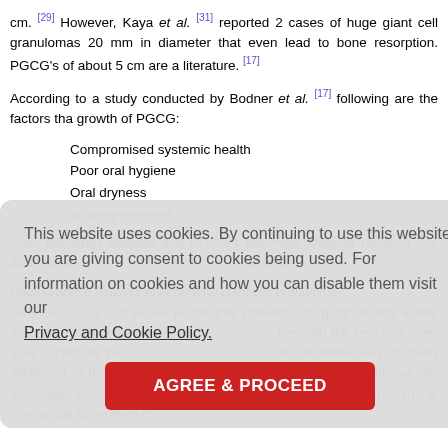cm. [29] However, Kaya et al. [31] reported 2 cases of huge giant cell granulomas 20 mm in diameter that even lead to bone resorption. PGCG's of about 5 cm are a literature. [17]
According to a study conducted by Bodner et al. [17] following are the factors tha growth of PGCG:
Compromised systemic health
Poor oral hygiene
Oral dryness
Ill fitting dentures
Also, the study showed that PGCG's are more likely to result in lesions than ma age... at 50 years.
Radiographite features of peripheral giant cell granuloma
As PGCG is a soft tissue lesion that presents on gingival and alveolar mucosa; thereby conspicifically beneath the lesion has been s as superficial bo... the discerned easily on peria Widening of the periodontal ligament space is also seen whichas often accompa associated teeth. Alveolar crest region or margin at interdental bone level c